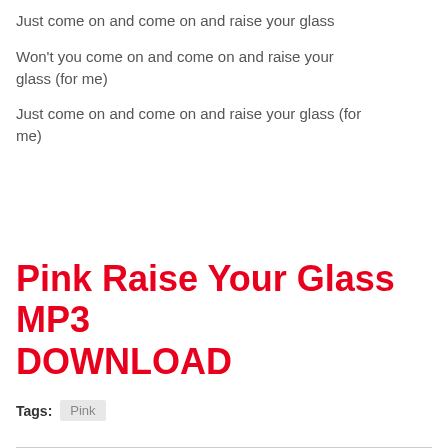Just come on and come on and raise your glass
Won't you come on and come on and raise your glass (for me)
Just come on and come on and raise your glass (for me)
Pink Raise Your Glass MP3 DOWNLOAD
Tags: Pink